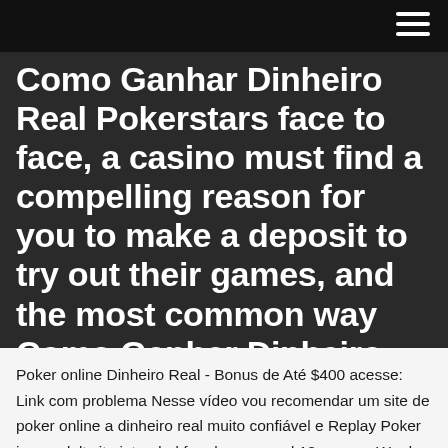Como Ganhar Dinheiro Real Pokerstars face to face, a casino must find a compelling reason for you to make a deposit to try out their games, and the most common way Como Ganhar Dinheiro Real Pokerstars to do so is to
Poker online Dinheiro Real - Bonus de Até $400 acesse: Link com problema Nesse vídeo vou recomendar um site de poker online a dinheiro real muito confiável e Replay Poker is an adult site intended for players aged 18 or over. We do